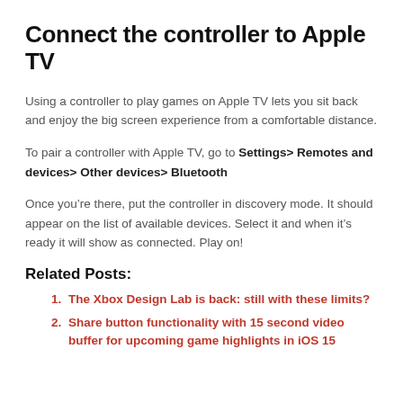Connect the controller to Apple TV
Using a controller to play games on Apple TV lets you sit back and enjoy the big screen experience from a comfortable distance.
To pair a controller with Apple TV, go to Settings> Remotes and devices> Other devices> Bluetooth
Once you’re there, put the controller in discovery mode. It should appear on the list of available devices. Select it and when it’s ready it will show as connected. Play on!
Related Posts:
The Xbox Design Lab is back: still with these limits?
Share button functionality with 15 second video buffer for upcoming game highlights in iOS 15